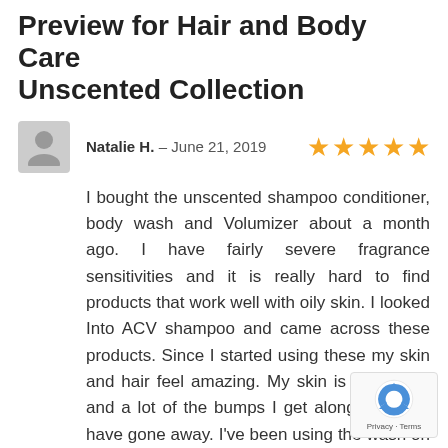Preview for Hair and Body Care Unscented Collection
Natalie H. – June 21, 2019 ★★★★★
I bought the unscented shampoo conditioner, body wash and Volumizer about a month ago. I have fairly severe fragrance sensitivities and it is really hard to find products that work well with oily skin. I looked Into ACV shampoo and came across these products. Since I started using these my skin and hair feel amazing. My skin is super soft and a lot of the bumps I get along my arms have gone away. I've been using the wash on my face too and it helped clear up my